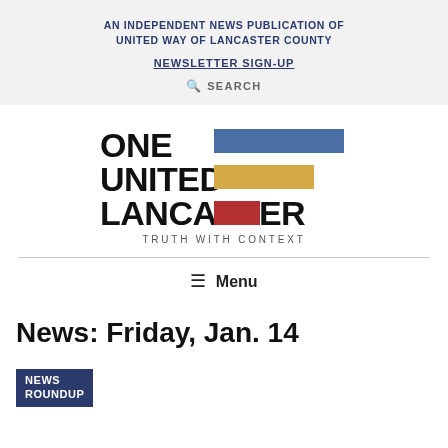AN INDEPENDENT NEWS PUBLICATION OF UNITED WAY OF LANCASTER COUNTY
NEWSLETTER SIGN-UP
SEARCH
[Figure (logo): One United Lancaster logo with colored bars (blue, gold, red) and tagline TRUTH WITH CONTEXT]
Menu
News: Friday, Jan. 14
NEWS ROUNDUP